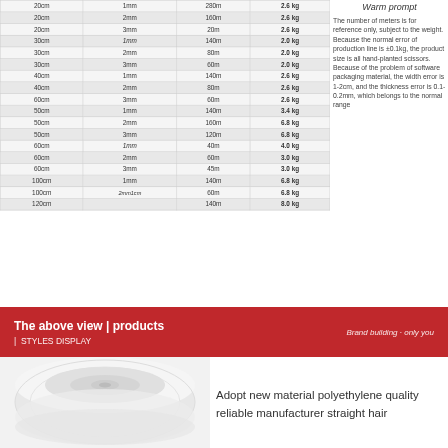| Width | Thickness | Length | Weight |
| --- | --- | --- | --- |
| 20cm | 1mm | 280m | 2.6 kg |
| 20cm | 2mm | 160m | 2.6 kg |
| 20cm | 3mm | 20m | 2.6 kg |
| 30cm | 1mm | 140m | 2.0 kg |
| 30cm | 2mm | 80m | 2.0 kg |
| 30cm | 3mm | 60m | 2.0 kg |
| 40cm | 1mm | 140m | 2.6 kg |
| 40cm | 2mm | 80m | 2.6 kg |
| 60cm | 3mm | 60m | 2.6 kg |
| 50cm | 1mm | 140m | 3.4 kg |
| 50cm | 2mm | 160m | 6.8 kg |
| 50cm | 3mm | 120m | 6.8 kg |
| 60cm | 1mm | 40m | 4.0 kg |
| 60cm | 2mm | 60m | 3.0 kg |
| 60cm | 3mm | 45m | 3.0 kg |
| 100cm | 1mm | 140m | 6.8 kg |
| 100cm | 2mm1cm | 60m | 6.8 kg |
| 120cm |  | 140m | 8.0 kg |
Warm prompt
The number of meters is for reference only, subject to the weight. Because the normal error of production line is ±0.1kg, the product size is all hand-planted scissors. Because of the problem of software packaging material, the width error is 1-2cm, and the thickness error is 0.1-0.2mm, which belongs to the normal range
The above view | products
| STYLES DISPLAY
Brand building · only you
[Figure (photo): White polyethylene foam roll product, shown from above angle, cylindrical roll of white material]
Adopt new material polyethylene quality reliable manufacturer straight hair